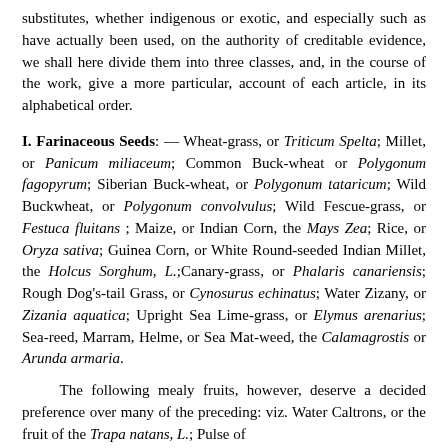substitutes, whether indigenous or exotic, and especially such as have actually been used, on the authority of creditable evidence, we shall here divide them into three classes, and, in the course of the work, give a more particular, account of each article, in its alphabetical order.
I. Farinaceous Seeds: — Wheat-grass, or Triticum Spelta; Millet, or Panicum miliaceum; Common Buck-wheat or Polygonum fagopyrum; Siberian Buck-wheat, or Polygonum tataricum; Wild Buckwheat, or Polygonum convolvulus; Wild Fescue-grass, or Festuca fluitans ; Maize, or Indian Corn, the Mays Zea; Rice, or Oryza sativa; Guinea Corn, or White Round-seeded Indian Millet, the Holcus Sorghum, L.;Canary-grass, or Phalaris canariensis; Rough Dog's-tail Grass, or Cynosurus echinatus; Water Zizany, or Zizania aquatica; Upright Sea Lime-grass, or Elymus arenarius; Sea-reed, Marram, Helme, or Sea Mat-weed, the Calamagrostis or Arunda armaria.
The following mealy fruits, however, deserve a decided preference over many of the preceding: viz. Water Caltrons, or the fruit of the Trapa natans, L.; Pulse of